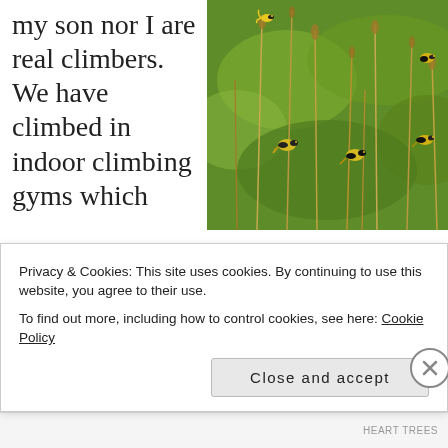my son nor I are real climbers. We have climbed in indoor climbing gyms which
[Figure (photo): Photograph of yellow and black goldfinch birds perched on tall dry grass stems in a green meadow.]
simulate some of the athletic moves needed for outdoor climbing on real rock slabs. And we have
Privacy & Cookies: This site uses cookies. By continuing to use this website, you agree to their use.
To find out more, including how to control cookies, see here: Cookie Policy
Close and accept
HEART TREES